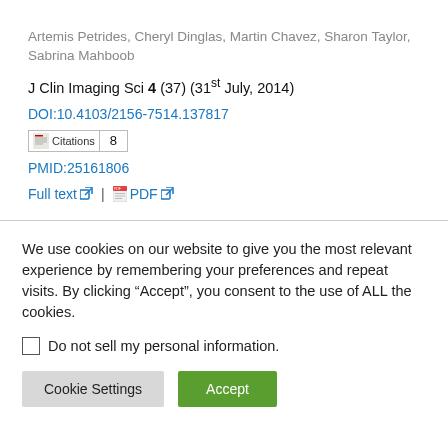Artemis Petrides, Cheryl Dinglas, Martin Chavez, Sharon Taylor, Sabrina Mahboob
J Clin Imaging Sci 4 (37) (31st July, 2014)
DOI:10.4103/2156-7514.137817
Citations 8
PMID:25161806
Full text | PDF
We use cookies on our website to give you the most relevant experience by remembering your preferences and repeat visits. By clicking “Accept”, you consent to the use of ALL the cookies.
Do not sell my personal information.
Cookie Settings   Accept